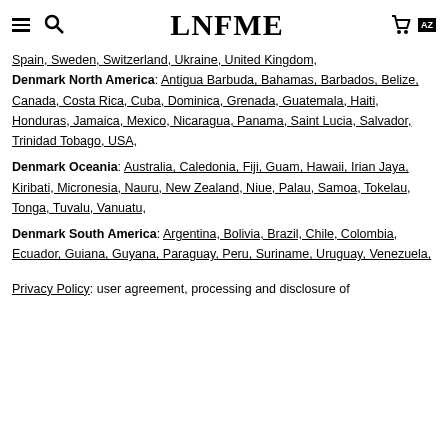LNFME
Spain, Sweden, Switzerland, Ukraine, United Kingdom, Denmark North America: Antigua Barbuda, Bahamas, Barbados, Belize, Canada, Costa Rica, Cuba, Dominica, Grenada, Guatemala, Haiti, Honduras, Jamaica, Mexico, Nicaragua, Panama, Saint Lucia, Salvador, Trinidad Tobago, USA,
Denmark Oceania: Australia, Caledonia, Fiji, Guam, Hawaii, Irian Jaya, Kiribati, Micronesia, Nauru, New Zealand, Niue, Palau, Samoa, Tokelau, Tonga, Tuvalu, Vanuatu,
Denmark South America: Argentina, Bolivia, Brazil, Chile, Colombia, Ecuador, Guiana, Guyana, Paraguay, Peru, Suriname, Uruguay, Venezuela,
Privacy Policy: user agreement, processing and disclosure of